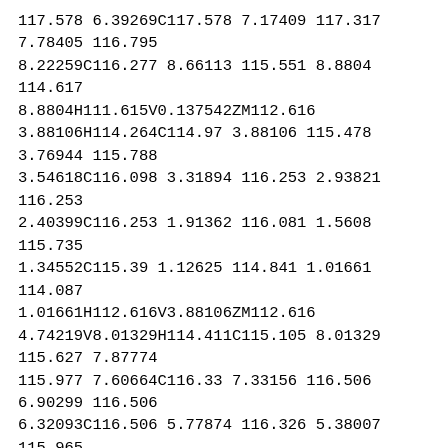117.578 6.39269C117.578 7.17409 117.317 7.78405 116.795 8.22259C116.277 8.66113 115.551 8.8804 114.617 8.8804H111.615V0.137542ZM112.616 3.88106H114.264C114.97 3.88106 115.478 3.76944 115.788 3.54618C116.098 3.31894 116.253 2.93821 116.253 2.40399C116.253 1.91362 116.081 1.5608 115.735 1.34552C115.39 1.12625 114.841 1.01661 114.087 1.01661H112.616V3.88106ZM112.616 4.74219V8.01329H114.411C115.105 8.01329 115.627 7.87774 115.977 7.60664C116.33 7.33156 116.506 6.90299 116.506 6.32093C116.506 5.77874 116.326 5.38007 115.965 5.12492C115.608 4.86977 115.062 4.74219 114.329 4.74219H112.616Z' fill='white'/%3E%3Cpath d='M121.621 4.50897L123.917 0.137542H125L122.128 5.4897V8.8804H121.115V5.53754L118.249 0.137542H119.343L121.621 4.50897Z' fill='white'/%3E%3Cpath fill-rule='evenodd' clip-rule='evenodd' d='M22.7656 16.9999H14H5.23443L0 23.9723L14 37.9999L28 23.9723L22.7656 16.9999Z' fill='%23F6BE00'/%3E%3Cpath d='M123